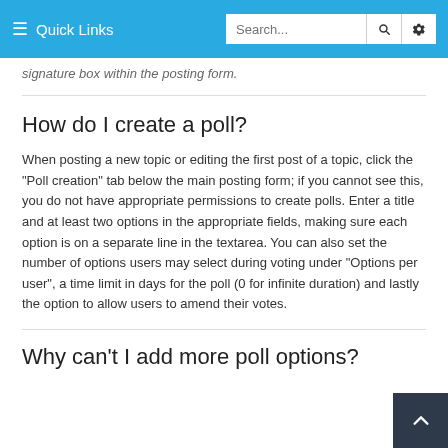Quick Links | Search...
signature box within the posting form.
How do I create a poll?
When posting a new topic or editing the first post of a topic, click the "Poll creation" tab below the main posting form; if you cannot see this, you do not have appropriate permissions to create polls. Enter a title and at least two options in the appropriate fields, making sure each option is on a separate line in the textarea. You can also set the number of options users may select during voting under "Options per user", a time limit in days for the poll (0 for infinite duration) and lastly the option to allow users to amend their votes.
Why can't I add more poll options?